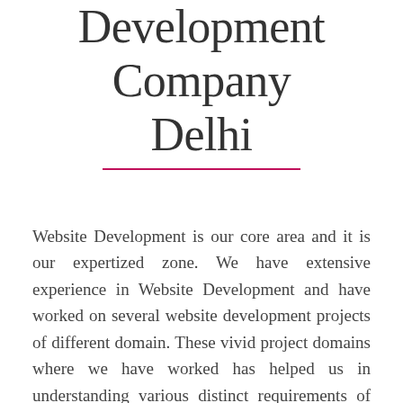Development Company Delhi
Website Development is our core area and it is our expertized zone. We have extensive experience in Website Development and have worked on several website development projects of different domain. These vivid project domains where we have worked has helped us in understanding various distinct requirements of our clients from different domains. Website Development team extensively focuses on quality and Scalability which allows a developed website to meet industry standards and be expandable as per the need to cater